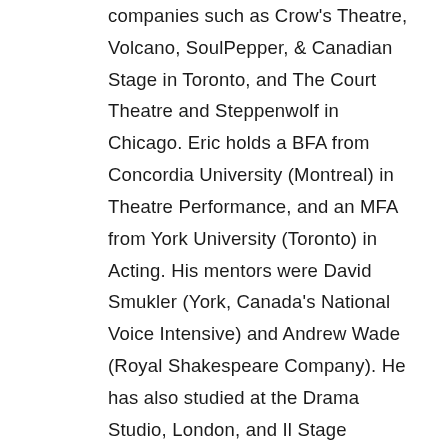companies such as Crow's Theatre, Volcano, SoulPepper, & Canadian Stage in Toronto, and The Court Theatre and Steppenwolf in Chicago. Eric holds a BFA from Concordia University (Montreal) in Theatre Performance, and an MFA from York University (Toronto) in Acting. His mentors were David Smukler (York, Canada's National Voice Intensive) and Andrew Wade (Royal Shakespeare Company). He has also studied at the Drama Studio, London, and Il Stage Internazzionale di Commedia dell'Arte in Reggio Emilia, Italy. He's a long time member of the Voice and Speech Trainers Association, where he has served on the board, as a conference planner, photo editor for the Voice and Speech Review, Founding Director of Technology and Internet Services, and has written numerous peer